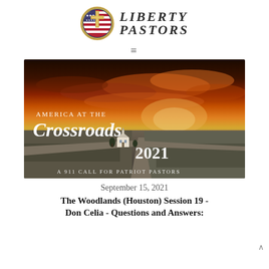[Figure (logo): Liberty Pastors logo with shield emblem featuring cross and American flag motif, next to text reading LIBERTY PASTORS in serif italic font]
[Figure (photo): America at the Crossroads 2021 - A 911 Call for Patriot Pastors. Aerial photo of a rural church at a crossroads with dramatic fiery sunset sky.]
September 15, 2021
The Woodlands (Houston) Session 19 - Don Celia - Questions and Answers: